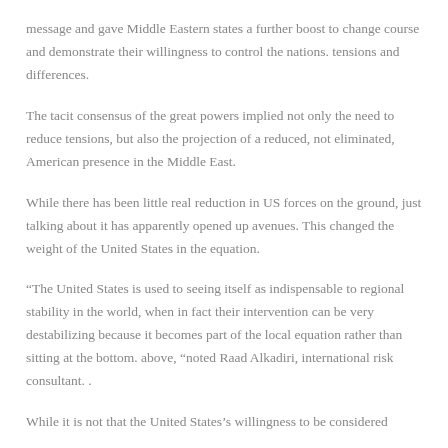message and gave Middle Eastern states a further boost to change course and demonstrate their willingness to control the nations. tensions and differences.
The tacit consensus of the great powers implied not only the need to reduce tensions, but also the projection of a reduced, not eliminated, American presence in the Middle East.
While there has been little real reduction in US forces on the ground, just talking about it has apparently opened up avenues. This changed the weight of the United States in the equation.
“The United States is used to seeing itself as indispensable to regional stability in the world, when in fact their intervention can be very destabilizing because it becomes part of the local equation rather than sitting at the bottom. above, “noted Raad Alkadiri, international risk consultant. .
While it is not that the United States’s willingness to be considered...